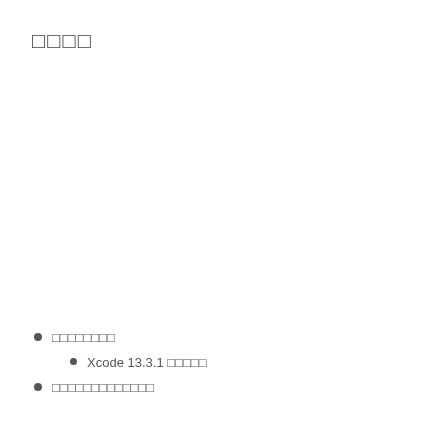□□□□
□□□□□□□□
Xcode 13.3.1 □□□□□
□□□□□□□□□□□□□